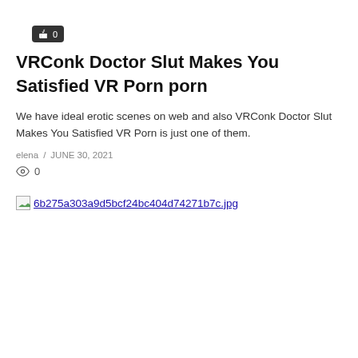[Figure (other): Like/thumbs-up button with count 0 on dark background]
VRConk Doctor Slut Makes You Satisfied VR Porn porn
We have ideal erotic scenes on web and also VRConk Doctor Slut Makes You Satisfied VR Porn is just one of them.
elena / JUNE 30, 2021
0
[Figure (photo): Broken image placeholder followed by link text: 6b275a303a9d5bcf24bc404d74271b7c.jpg]